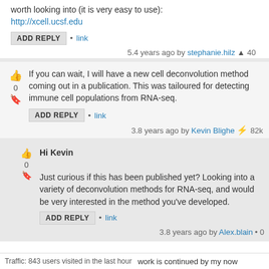worth looking into (it is very easy to use):
http://xcell.ucsf.edu
5.4 years ago by stephanie.hilz ▲ 40
If you can wait, I will have a new cell deconvolution method coming out in a publication. This was tailoured for detecting immune cell populations from RNA-seq.
3.8 years ago by Kevin Blighe ⚡ 82k
Hi Kevin
Just curious if this has been published yet? Looking into a variety of deconvolution methods for RNA-seq, and would be very interested in the method you've developed.
3.8 years ago by Alex.blain • 0
Traffic: 843 users visited in the last hour
work is continued by my now